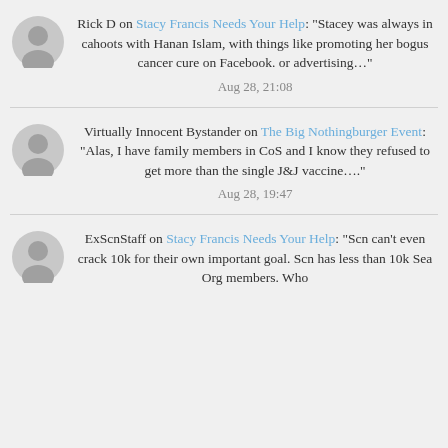Rick D on Stacy Francis Needs Your Help: "Stacey was always in cahoots with Hanan Islam, with things like promoting her bogus cancer cure on Facebook. or advertising…"
Aug 28, 21:08
Virtually Innocent Bystander on The Big Nothingburger Event: "Alas, I have family members in CoS and I know they refused to get more than the single J&J vaccine…."
Aug 28, 19:47
ExScnStaff on Stacy Francis Needs Your Help: "Scn can't even crack 10k for their own important goal. Scn has less than 10k Sea Org members. Who